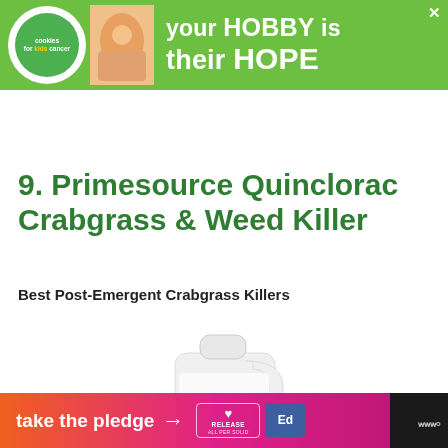[Figure (infographic): Green banner advertisement for Cookies for Kids Cancer with circular logo and text 'your HOBBY is their HOPE']
9. Primesource Quinclorac Crabgrass & Weed Killer
Best Post-Emergent Crabgrass Killers
[Figure (photo): White plastic jug/container for Primesource Quinclorac Crabgrass and Weed Killer product]
[Figure (infographic): Bottom banner advertisement saying 'take the pledge' with arrow and Release/Ed logos on dark background]